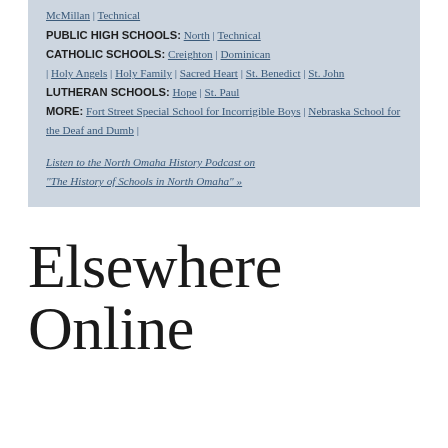McMillan | Technical
PUBLIC HIGH SCHOOLS: North | Technical
CATHOLIC SCHOOLS: Creighton | Dominican | Holy Angels | Holy Family | Sacred Heart | St. Benedict | St. John
LUTHERAN SCHOOLS: Hope | St. Paul
MORE: Fort Street Special School for Incorrigible Boys | Nebraska School for the Deaf and Dumb |

Listen to the North Omaha History Podcast on "The History of Schools in North Omaha" »
Elsewhere Online